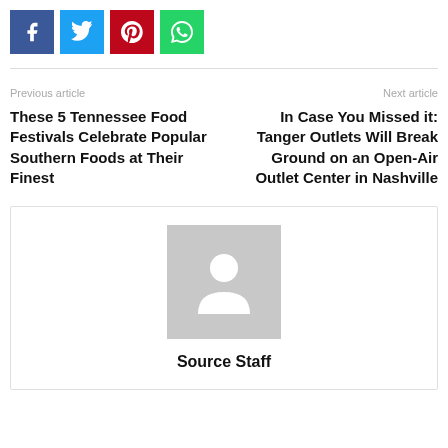[Figure (other): Social share buttons: Facebook (blue), Twitter (light blue), Pinterest (red), WhatsApp (green)]
Previous article
Next article
These 5 Tennessee Food Festivals Celebrate Popular Southern Foods at Their Finest
In Case You Missed it: Tanger Outlets Will Break Ground on an Open-Air Outlet Center in Nashville
[Figure (photo): Generic user avatar placeholder image (grey silhouette of a person)]
Source Staff